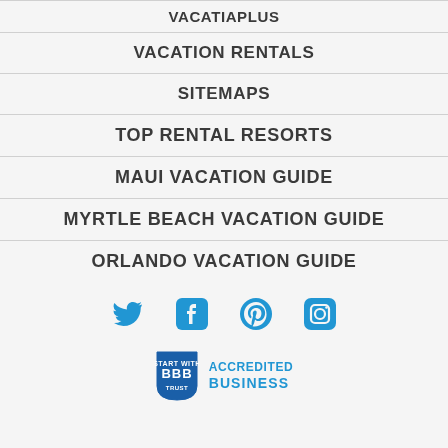VACATIAPLUS
VACATION RENTALS
SITEMAPS
TOP RENTAL RESORTS
MAUI VACATION GUIDE
MYRTLE BEACH VACATION GUIDE
ORLANDO VACATION GUIDE
[Figure (infographic): Social media icons row: Twitter, Facebook, Pinterest, Instagram in blue]
[Figure (logo): BBB Accredited Business logo with shield and text]